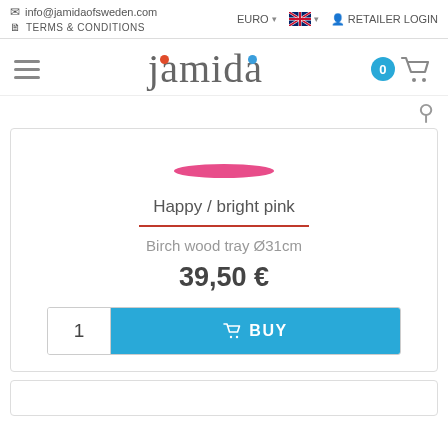info@jamidaofsweden.com | TERMS & CONDITIONS | EURO | RETAILER LOGIN
[Figure (logo): Jamida logo with orange dot over j and blue dot over i]
Happy / bright pink
Birch wood tray Ø31cm
39,50 €
1   BUY